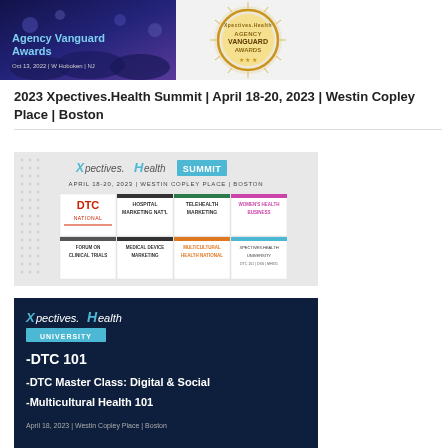[Figure (photo): Agency Vanguard Awards event image with dark blue/purple backdrop and medal logo, Oct 13, 2022 | W Hoboken | NJ]
2023 Xpectives.Health Summit | April 18-20, 2023 | Westin Copley Place | Boston
[Figure (photo): Xpectives.Health Summit promotional image showing April 18-20, 2023 | Westin Copley Place | Boston, with grid of conference tracks: DTC National, Hospital Marketing Nat'l, Telehealth Marketing, Women's Health Business, Forum on Clinical Trials, Medical Device Marketing, Multicultural Health National, Xpectives.Health University]
[Figure (photo): Xpectives.Health University promotional image on dark navy background showing: -DTC 101, -DTC Master Class: Digital & Social, -Multicultural Health 101. April 18, 2023 | Westin Copley Place | Boston]